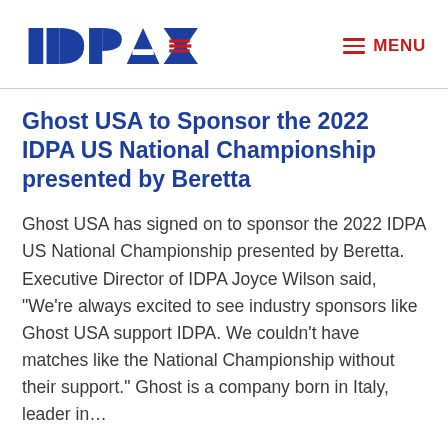IDPA  ≡ MENU
Ghost USA to Sponsor the 2022 IDPA US National Championship presented by Beretta
Ghost USA has signed on to sponsor the 2022 IDPA US National Championship presented by Beretta. Executive Director of IDPA Joyce Wilson said, “We’re always excited to see industry sponsors like Ghost USA support IDPA. We couldn’t have matches like the National Championship without their support.” Ghost is a company born in Italy, leader in…